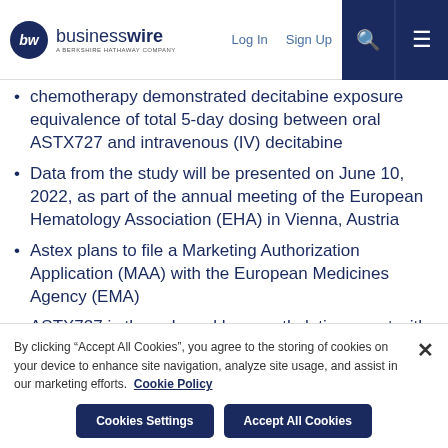businesswire | Log In | Sign Up
chemotherapy demonstrated decitabine exposure equivalence of total 5-day dosing between oral ASTX727 and intravenous (IV) decitabine
Data from the study will be presented on June 10, 2022, as part of the annual meeting of the European Hematology Association (EHA) in Vienna, Austria
Astex plans to file a Marketing Authorization Application (MAA) with the European Medicines Agency (EMA)
ASTX727 is the only oral hypomethylating agent with equivalent exposure to its parenterally administered form
By clicking “Accept All Cookies”, you agree to the storing of cookies on your device to enhance site navigation, analyze site usage, and assist in our marketing efforts. Cookie Policy